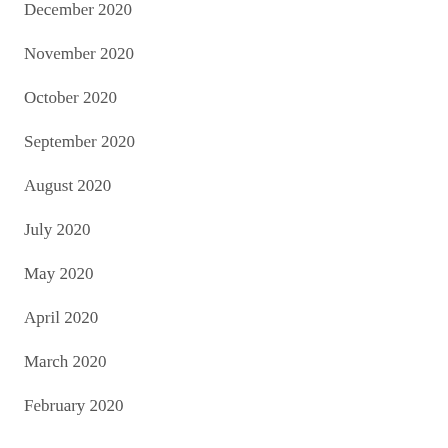December 2020
November 2020
October 2020
September 2020
August 2020
July 2020
May 2020
April 2020
March 2020
February 2020